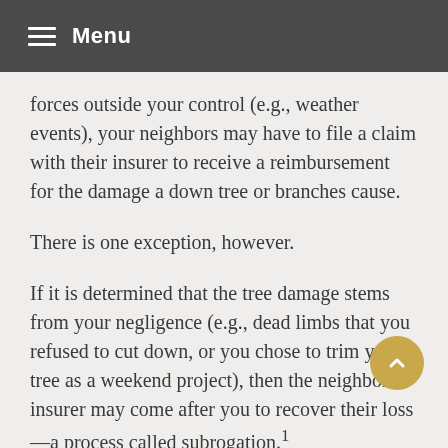Menu
forces outside your control (e.g., weather events), your neighbors may have to file a claim with their insurer to receive a reimbursement for the damage a down tree or branches cause.
There is one exception, however.
If it is determined that the tree damage stems from your negligence (e.g., dead limbs that you refused to cut down, or you chose to trim your tree as a weekend project), then the neighbor's insurer may come after you to recover their loss —a process called subrogation.¹
You may want to check your policy or speak to your insurance agent to ascertain if your homeowners policy covers your liability in cases of negligence.
When Neighbors Sue